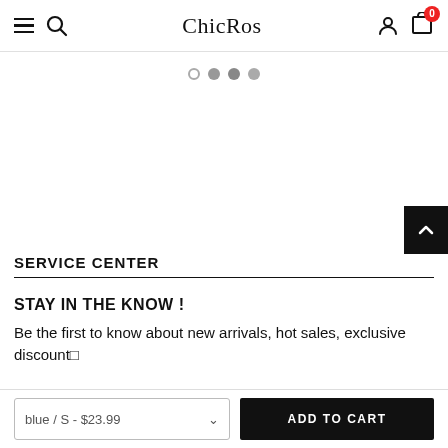ChicRos
[Figure (screenshot): Carousel pagination dots: one empty circle and three filled grey circles]
SERVICE CENTER
STAY IN THE KNOW !
Be the first to know about new arrivals, hot sales, exclusive discount…
blue / S - $23.99   ADD TO CART